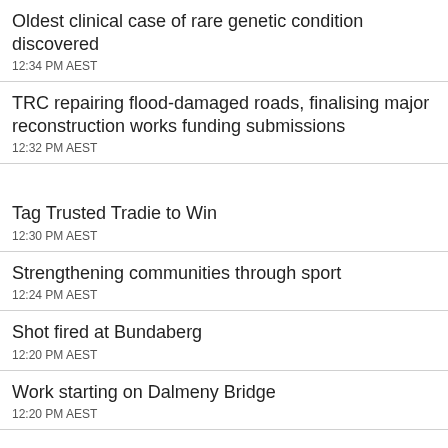Oldest clinical case of rare genetic condition discovered
12:34 PM AEST
TRC repairing flood-damaged roads, finalising major reconstruction works funding submissions
12:32 PM AEST
Tag Trusted Tradie to Win
12:30 PM AEST
Strengthening communities through sport
12:24 PM AEST
Shot fired at Bundaberg
12:20 PM AEST
Work starting on Dalmeny Bridge
12:20 PM AEST